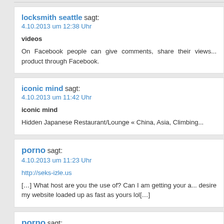locksmith seattle sagt:
4.10.2013 um 12:38 Uhr
videos
On Facebook people can give comments, share their views... product through Facebook.
iconic mind sagt:
4.10.2013 um 11:42 Uhr
iconic mind
Hidden Japanese Restaurant/Lounge « China, Asia, Climbing...
porno sagt:
4.10.2013 um 11:23 Uhr
http://seks-izle.us
[...] What host are you the use of? Can I am getting your a... desire my website loaded up as fast as yours lol[...]
porno sagt:
4.10.2013 um 11:21 Uhr